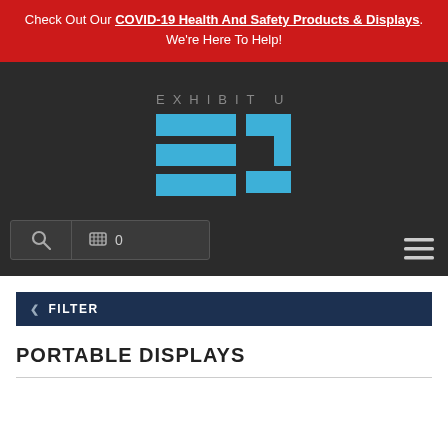Check Out Our COVID-19 Health And Safety Products & Displays. We're Here To Help!
[Figure (logo): Exhibit U logo with blue geometric E and U shapes on dark background]
[Figure (screenshot): Search bar with magnifying glass icon, cart icon with item count 0]
[Figure (other): Hamburger menu icon (three horizontal lines)]
FILTER
PORTABLE DISPLAYS